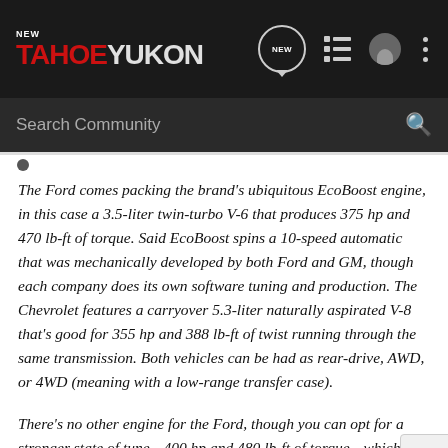NEW TahoeYukon — Search Community
The Ford comes packing the brand's ubiquitous EcoBoost engine, in this case a 3.5-liter twin-turbo V-6 that produces 375 hp and 470 lb-ft of torque. Said EcoBoost spins a 10-speed automatic that was mechanically developed by both Ford and GM, though each company does its own software tuning and production. The Chevrolet features a carryover 5.3-liter naturally aspirated V-8 that's good for 355 hp and 388 lb-ft of twist running through the same transmission. Both vehicles can be had as rear-drive, AWD, or 4WD (meaning with a low-range transfer case).
There's no other engine for the Ford, though you can opt for a stronger state of tune—400 hp and 480 lb-ft of torque—which comes standard on the top Platinum trim level. Remember,